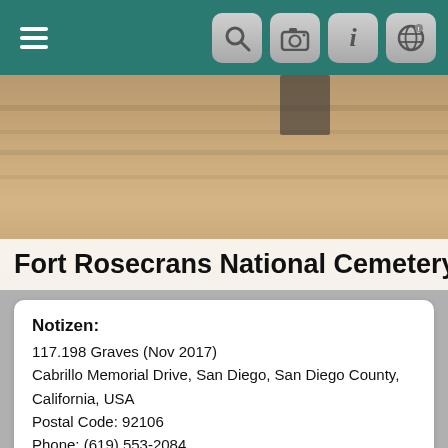Navigation bar with hamburger menu and icons
[Figure (photo): Photo of Fort Rosecrans National Cemetery stone/sign with text overlay reading 'Fort Rosecrans National Cemetery,']
Notizen:
117.198 Graves (Nov 2017)
Cabrillo Memorial Drive, San Diego, San Diego County, California, USA
Postal Code: 92106
Phone: (619) 553-2084
www.cem.va.gov/CEM/cems...
Friedhofs-Fotos
|  | Vorschaubild | Beschreibung |
| --- | --- | --- |
| 1 | [thumbnail] | Lloyd Holmes
Fort Rosecrans National Cemetery, San Diego, San Diego County, California, USA, Plot: V, 211 |